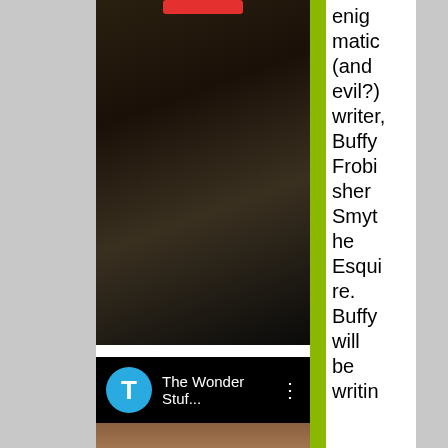[Figure (screenshot): Dark screenshot of a video — appears to show a shadowy figure, part of a YouTube-style video player with a red button visible at top]
[Figure (screenshot): YouTube channel bar showing cyan 'T' avatar icon, channel name 'The Wonder Stuf...' with three-dot menu, black background]
[Figure (screenshot): Bottom video thumbnail showing a person with long brown hair, colorful background]
enigmatic (and evil?) writer, Buffy Frobisher Smythe Esquire. Buffy will be writin
Advertisements
[Figure (screenshot): DuckDuckGo advertisement banner on orange background: 'Search, browse, and email with more privacy. All in One Free App' with phone showing DuckDuckGo logo]